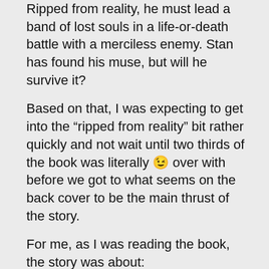Ripped from reality, he must lead a band of lost souls in a life-or-death battle with a merciless enemy. Stan has found his muse, but will he survive it?
Based on that, I was expecting to get into the “ripped from reality” bit rather quickly and not wait until two thirds of the book was literally 😉 over with before we got to what seems on the back cover to be the main thrust of the story.
For me, as I was reading the book, the story was about: